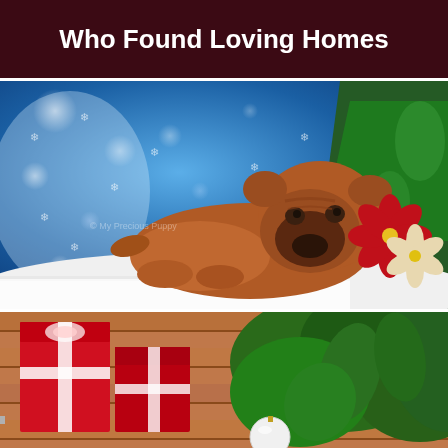Who Found Loving Homes
[Figure (photo): A wrinkly brown Shar-Pei puppy lying on white faux fur, with a blue bokeh snowflake backdrop, a Christmas tree on the right, and red and cream poinsettia flowers]
[Figure (photo): Bottom portion of a Christmas-themed scene with red striped gift boxes on wooden surface and green plant foliage]